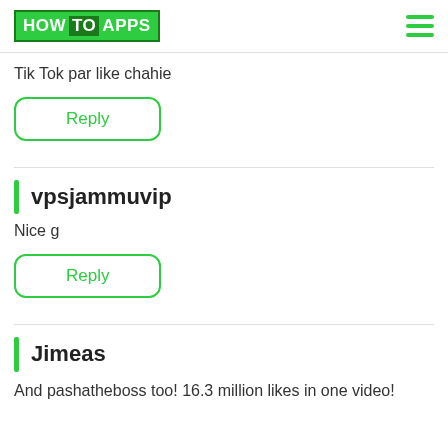HOW TO APPS
Tik Tok par like chahie
Reply
vpsjammuvip
Nice g
Reply
Jimeas
And pashatheboss too! 16.3 million likes in one video!